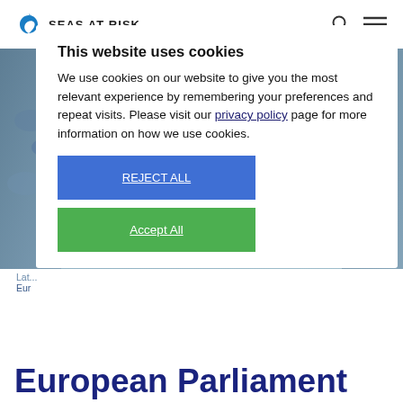SEAS AT RISK
[Figure (photo): Background photo of plastic bottles/chains in blue tones]
This website uses cookies

We use cookies on our website to give you the most relevant experience by remembering your preferences and repeat visits. Please visit our privacy policy page for more information on how we use cookies.

REJECT ALL
Accept All
Latest
Eur...
European Parliament